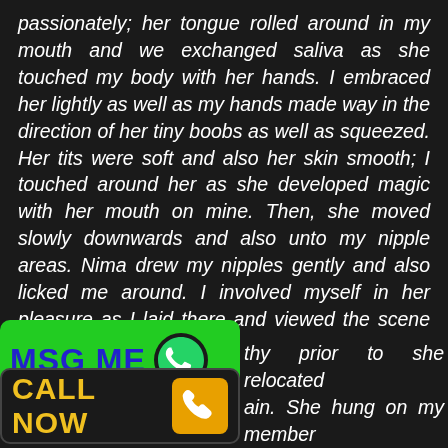passionately; her tongue rolled around in my mouth and we exchanged saliva as she touched my body with her hands. I embraced her lightly as well as my hands made way in the direction of her tiny boobs as well as squeezed. Her tits were soft and also her skin smooth; I touched around her as she developed magic with her mouth on mine. Then, she moved slowly downwards and also unto my nipple areas. Nima drew my nipples gently and also licked me around. I involved myself in her pleasure as I laid there and viewed the scene unfold.
[Figure (infographic): Green MSG ME banner with WhatsApp icon]
[Figure (infographic): Black CALL NOW banner with phone icon on yellow background]
thy prior to she relocated ain. She hung on my member stroke me delicately as she asked if I desired her to suck me. I nodded in